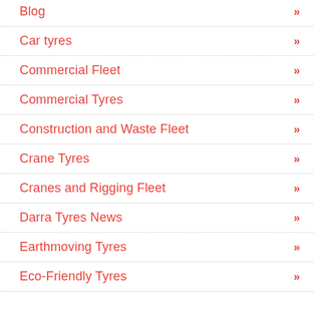Blog »
Car tyres »
Commercial Fleet »
Commercial Tyres »
Construction and Waste Fleet »
Crane Tyres »
Cranes and Rigging Fleet »
Darra Tyres News »
Earthmoving Tyres »
Eco-Friendly Tyres »